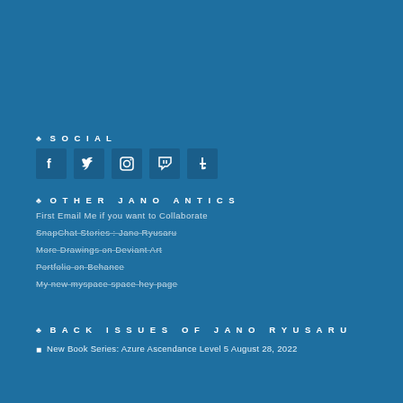♣ SOCIAL
[Figure (illustration): Five social media icons in boxes: Facebook, Twitter, Instagram, Twitch, Tumblr]
♣ OTHER JANO ANTICS
First Email Me if you want to Collaborate
SnapChat Stories : Jano Ryusaru
More Drawings on Deviant Art
Portfolio on Behance
My new myspace space hey page
♣ BACK ISSUES OF JANO RYUSARU
New Book Series: Azure Ascendance Level 5 August 28, 2022